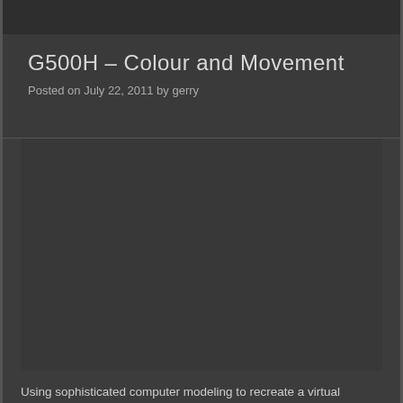G500H – Colour and Movement
Posted on July 22, 2011 by gerry
[Figure (photo): Dark placeholder image area for G500H visual content]
Using sophisticated computer modeling to recreate a virtual topographic landscape from the system's terrain